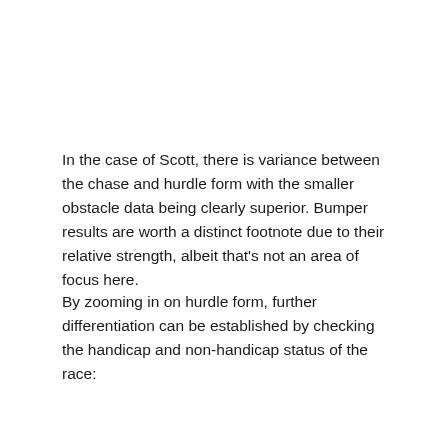In the case of Scott, there is variance between the chase and hurdle form with the smaller obstacle data being clearly superior. Bumper results are worth a distinct footnote due to their relative strength, albeit that's not an area of focus here.
By zooming in on hurdle form, further differentiation can be established by checking the handicap and non-handicap status of the race: